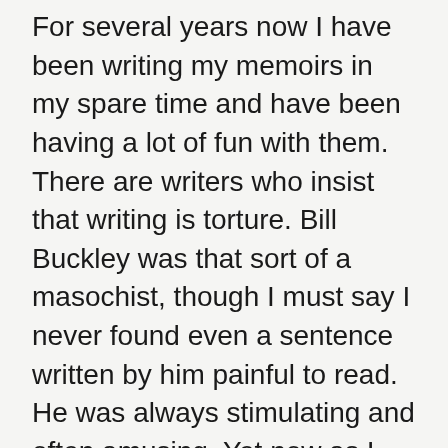For several years now I have been writing my memoirs in my spare time and have been having a lot of fun with them. There are writers who insist that writing is torture. Bill Buckley was that sort of a masochist, though I must say I never found even a sentence written by him painful to read. He was always stimulating and often amusing. Yet now as I enter the last lap of my memoirs, I am encountering difficulties.
I began with a lot of amusing tales about Warren Gamaliel Harding, the 1920s president who was easily the worst president until we endured Jimmy Carter. I even had personal accounts from a survivor, reporting to me about the time he “slayed” a fifth of scotch with Harding. That would the late